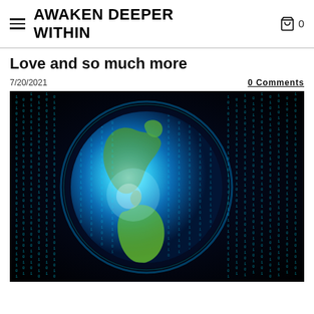AWAKEN DEEPER WITHIN
Love and so much more
7/20/2021
0 Comments
[Figure (photo): A digital art image of planet Earth overlaid with falling matrix-style green/teal code streams on a dark background, giving a cyber/matrix aesthetic. The Americas are visible on the globe, illuminated with a glowing blue light.]